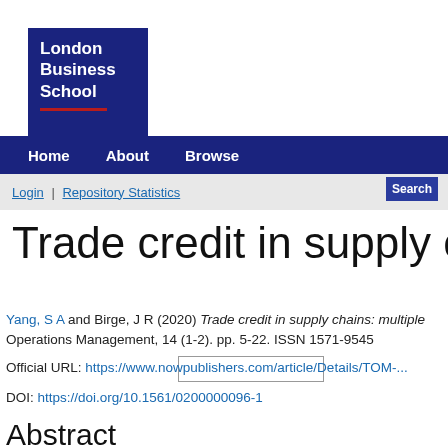[Figure (logo): London Business School logo: dark navy blue square with white bold text 'London Business School' and a dark red underline]
Home   About   Browse
Login | Repository Statistics   [search box]   Search
Trade credit in supply cha
Yang, S A and Birge, J R (2020) Trade credit in supply chains: multiple... Operations Management, 14 (1-2). pp. 5-22. ISSN 1571-9545
Official URL: https://www.nowpublishers.com/article/Details/TOM-...
DOI: https://doi.org/10.1561/0200000096-1
Abstract